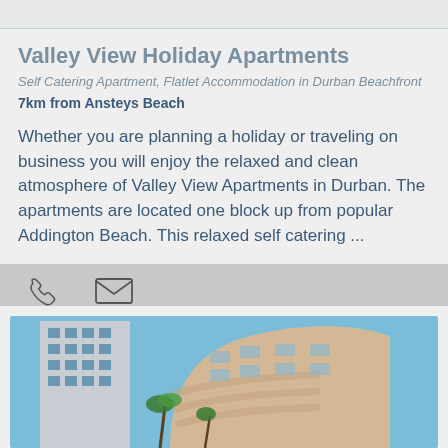Valley View Holiday Apartments
Self Catering Apartment, Flatlet Accommodation in Durban Beachfront
7km from Ansteys Beach
Whether you are planning a holiday or traveling on business you will enjoy the relaxed and clean atmosphere of Valley View Apartments in Durban. The apartments are located one block up from popular Addington Beach. This relaxed self catering ...
[Figure (photo): Exterior photo of apartment building with blue sky, showing multi-storey buildings near the beachfront]